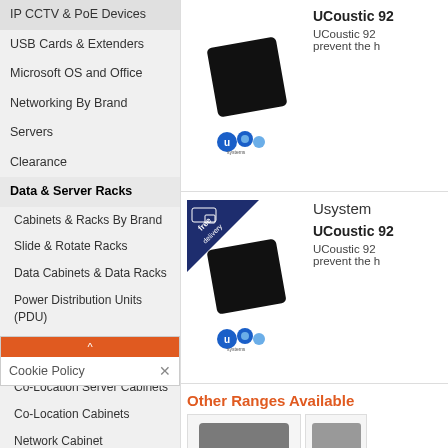IP CCTV & PoE Devices
USB Cards & Extenders
Microsoft OS and Office
Networking By Brand
Servers
Clearance
Data & Server Racks
Cabinets & Racks By Brand
Slide & Rotate Racks
Data Cabinets & Data Racks
Power Distribution Units (PDU)
Server Racks & Server Cabinets
Co-Location Server Cabinets
Co-Location Cabinets
Network Cabinet Accessories
○ LCD Console Drawers
Cookie Policy
○ Usystems 4210 Accessories
○ Usystems 7210 Midi
[Figure (photo): Black rectangular acoustic panel product image with Usystems logo below]
UCoustic 92
UCoustic 92 prevent the h
[Figure (photo): Black rectangular acoustic panel product image with free delivery badge and Usystems logo, second product]
Usystem
UCoustic 92
UCoustic 92 prevent the h
Other Ranges Available
[Figure (photo): Gray rectangular panel shown in Other Ranges Available section]